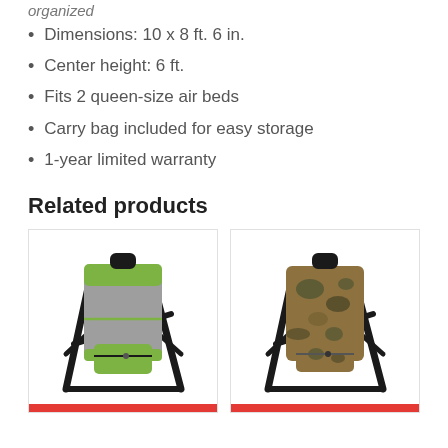Dimensions: 10 x 8 ft. 6 in.
Center height: 6 ft.
Fits 2 queen-size air beds
Carry bag included for easy storage
1-year limited warranty
Related products
[Figure (photo): Folding camping stool with green and gray backpack cooler bag, black metal frame]
[Figure (photo): Folding camping stool with camouflage pattern backpack cooler bag, black metal frame]